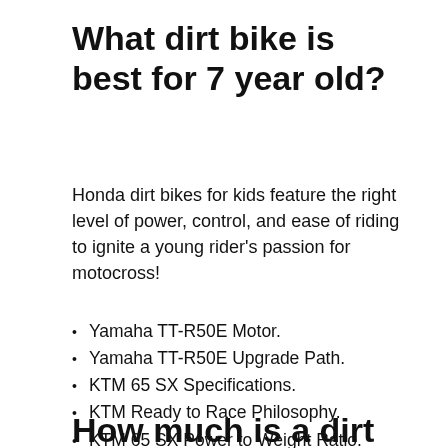What dirt bike is best for 7 year old?
Honda dirt bikes for kids feature the right level of power, control, and ease of riding to ignite a young rider’s passion for motocross!
Yamaha TT-R50E Motor.
Yamaha TT-R50E Upgrade Path.
KTM 65 SX Specifications.
KTM Ready to Race Philosophy.
KTM 65 SX Power to Weight Ratio.
KTM Upgrade Path.
Honda CRF125F Specifications.
How much is a dirt bike